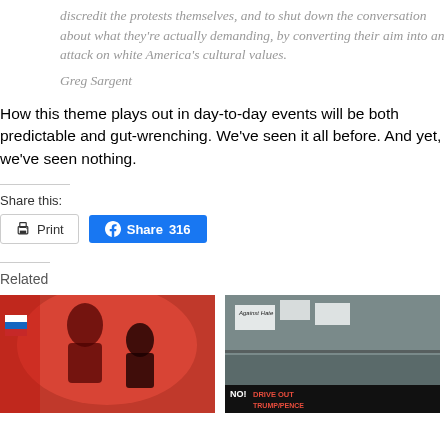discredit the protests themselves, and to shut down the conversation about what they're actually demanding, by converting their aim into an attack on white America's cultural values.
Greg Sargent
How this theme plays out in day-to-day events will be both predictable and gut-wrenching. We've seen it all before. And yet, we've seen nothing.
Share this:
Related
[Figure (photo): Red political illustration with figures and flags]
[Figure (photo): Protest crowd with Against Hate sign and DRIVE OUT TRUMP/PENCE banner]